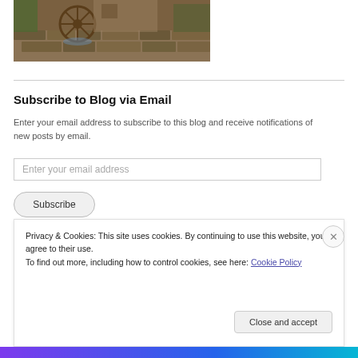[Figure (photo): Photograph of an old stone water mill with a wooden wheel, surrounded by stone walls and green vegetation]
Subscribe to Blog via Email
Enter your email address to subscribe to this blog and receive notifications of new posts by email.
Enter your email address
Subscribe
Privacy & Cookies: This site uses cookies. By continuing to use this website, you agree to their use.
To find out more, including how to control cookies, see here: Cookie Policy
Close and accept